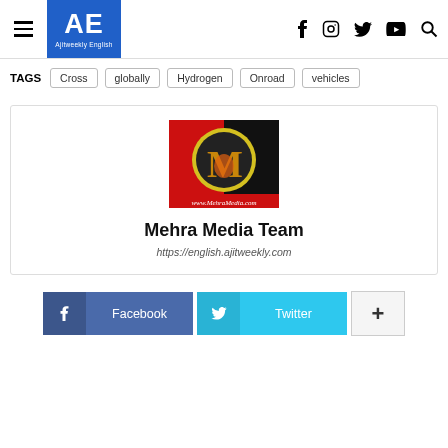AE Ajitweekly English
TAGS: Cross, globally, Hydrogen, Onroad, vehicles
[Figure (logo): Mehra Media logo — red and black background with golden 'M' letter on a yellow circle, www.MehraMedia.com text at bottom]
Mehra Media Team
https://english.ajitweekly.com
Facebook  Twitter  +